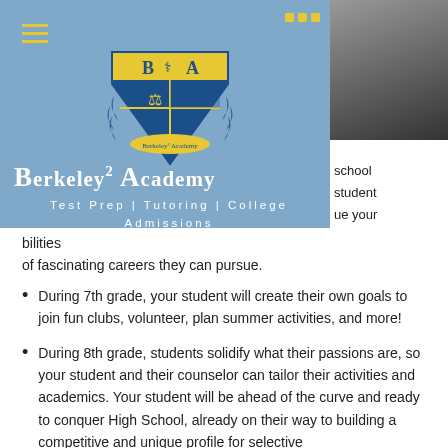[Figure (logo): Berkeley Squared Academy shield logo with blue and yellow crest, laurel wreath, and medical symbol]
Berkeley² Academy
Test Prep | Tutoring | College Admissions
...bilities of fascinating careers they can pursue.
During 7th grade, your student will create their own goals to join fun clubs, volunteer, plan summer activities, and more!
During 8th grade, students solidify what their passions are, so your student and their counselor can tailor their activities and academics. Your student will be ahead of the curve and ready to conquer High School, already on their way to building a competitive and unique profile for selective